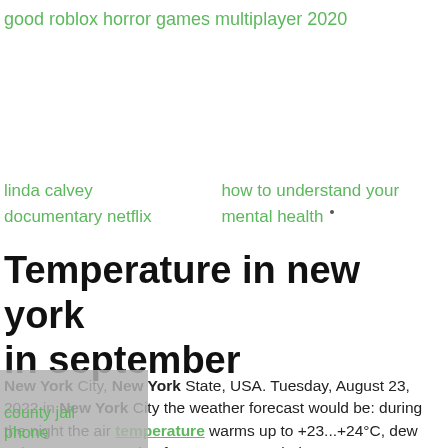good roblox horror games multiplayer 2020
linda calvey documentary netflix
how to understand your mental health
Temperature in new york in september
New York City, New York State, USA. Tuesday, August 23, 2022 in New York City the weather forecast would be: during the night the air temperature warms up to +23...+24°C, dew point: +20.77°C; ratio of temperature, wind
county jail phone